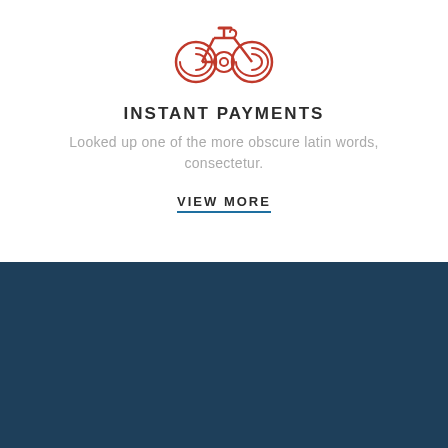[Figure (logo): Red bicycle icon made of circular swirling lines]
INSTANT PAYMENTS
Looked up one of the more obscure latin words, consectetur.
VIEW MORE